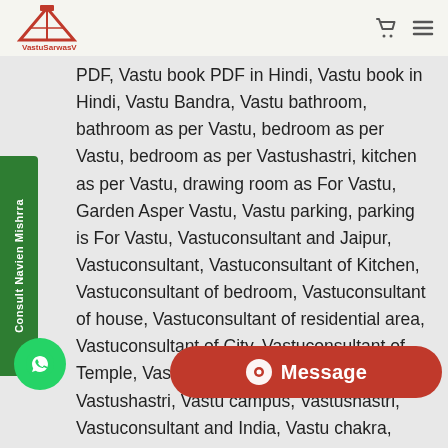VastuSarwasV logo with cart and menu icons
PDF, Vastu book PDF in Hindi, Vastu book in Hindi, Vastu Bandra, Vastu bathroom, bathroom as per Vastu, bedroom as per Vastu, bedroom as per Vastushastri, kitchen as per Vastu, drawing room as For Vastu, Garden Asper Vastu, Vastu parking, parking is For Vastu, Vastuconsultant and Jaipur, Vastuconsultant, Vastuconsultant of Kitchen, Vastuconsultant of bedroom, Vastuconsultant of house, Vastuconsultant of residential area, Vastuconsultant of City, Vastuconsultant of Temple, Vastuconsultant of house area, Vastushastri, Vastu campus, Vastushastri, Vastuconsultant and India, Vastu chakra, Vastu content, Vasu connect, Vasu direction, Vastu does Niwaru and Mantu, does does Niwaru and Mahnura, Vastu